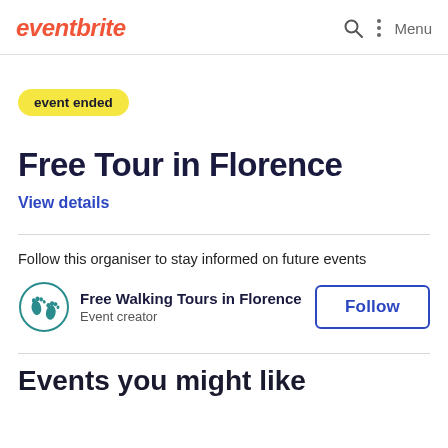eventbrite  Menu
event ended
Free Tour in Florence
View details
Follow this organiser to stay informed on future events
Free Walking Tours in Florence
Event creator
Follow
Events you might like